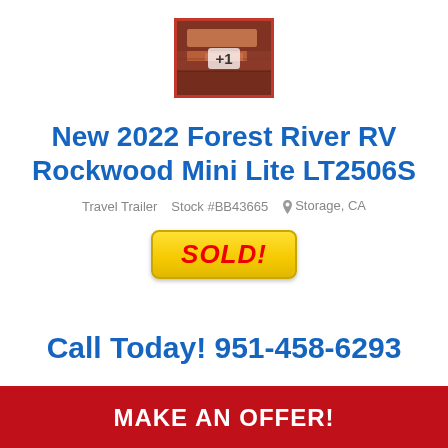[Figure (photo): Thumbnail image of RV interior with red border and '+1' overlay badge]
New 2022 Forest River RV Rockwood Mini Lite LT2506S
Travel Trailer   Stock #BB43665   Storage, CA
[Figure (infographic): Yellow 'SOLD!' badge with red italic bold text]
Call Today! 951-458-6293
MAKE AN OFFER!